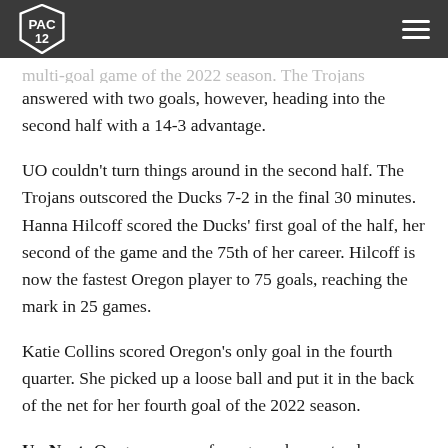Pac-12 logo and navigation menu
multi-goal game of the 2022 season. The Trojans answered with two goals, however, heading into the second half with a 14-3 advantage.
UO couldn't turn things around in the second half. The Trojans outscored the Ducks 7-2 in the final 30 minutes. Hanna Hilcoff scored the Ducks' first goal of the half, her second of the game and the 75th of her career. Hilcoff is now the fastest Oregon player to 75 goals, reaching the mark in 25 games.
Katie Collins scored Oregon's only goal in the fourth quarter. She picked up a loose ball and put it in the back of the net for her fourth goal of the 2022 season.
Up Next: Oregon opens a four-game homestand on